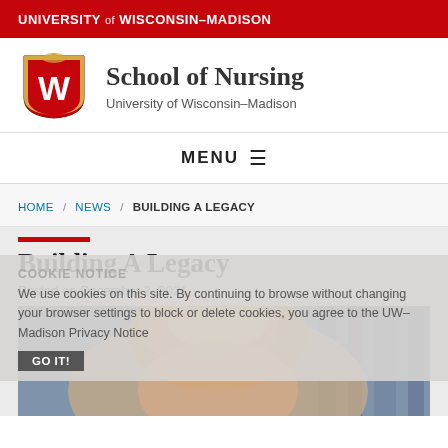UNIVERSITY of WISCONSIN–MADISON
[Figure (logo): University of Wisconsin–Madison shield/crest logo with W emblem]
School of Nursing
University of Wisconsin–Madison
MENU
HOME / NEWS / BUILDING A LEGACY
Building A Legacy
Posted on December 2, 2021
We use cookies on this site. By continuing to browse without changing your browser settings to block or delete cookies, you agree to the UW–Madison Privacy Notice
[Figure (photo): Close-up photograph of a person's head from behind/top, showing blond/auburn hair, with blurred background of shelves]